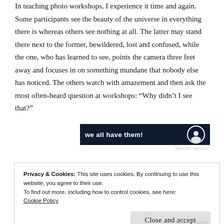In teaching photo workshops, I experience it time and again. Some participants see the beauty of the universe in everything there is whereas others see nothing at all. The latter may stand there next to the former, bewildered, lost and confused, while the one, who has learned to see, points the camera three feet away and focuses in on something mundane that nobody else has noticed. The others watch with amazement and then ask the most often-heard question at workshops: “Why didn’t I see that?”
[Figure (screenshot): Dark navy advertisement banner with bold white text reading 'we all have them!' and a circular icon on the right side.]
REPORT THIS AD
Privacy & Cookies: This site uses cookies. By continuing to use this website, you agree to their use.
To find out more, including how to control cookies, see here:
Cookie Policy
Close and accept
REPORT THIS AD